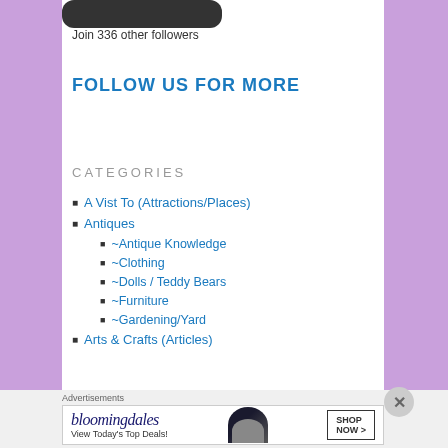[Figure (other): Dark rounded button/widget at top of sidebar]
Join 336 other followers
FOLLOW US FOR MORE
CATEGORIES
A Vist To (Attractions/Places)
Antiques
~Antique Knowledge
~Clothing
~Dolls / Teddy Bears
~Furniture
~Gardening/Yard
Arts & Crafts (Articles)
Advertisements
[Figure (photo): Bloomingdales advertisement banner: bloomingdales logo, 'View Today's Top Deals!' text, woman with hat, 'SHOP NOW >' button]